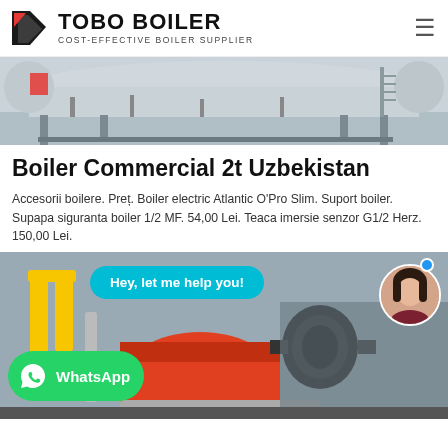TOBO BOILER — COST-EFFECTIVE BOILER SUPPLIER
[Figure (photo): Industrial boiler equipment, large tank/vessel mounted on a steel frame structure, outdoor industrial setting, gray tones]
Boiler Commercial 2t Uzbekistan
Accesorii boilere. Preț. Boiler electric Atlantic O'Pro Slim. Suport boiler. Supapa siguranta boiler 1/2 MF. 54,00 Lei. Teaca imersie senzor G1/2 Herz. 150,00 Lei.
[Figure (photo): Industrial boiler room with yellow pipes and orange/black boiler equipment. Overlay includes a cyan chat bubble saying 'Hey, let me help you!', a WhatsApp button in green, and a female avatar photo in circular frame.]